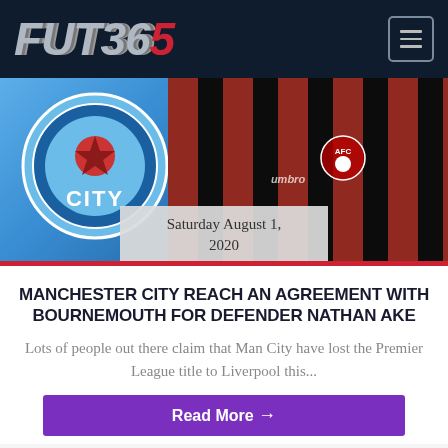FUT365
[Figure (photo): Football player wearing red and black striped Bournemouth jersey with Manchester City logo visible in background]
Saturday August 1, 2020
MANCHESTER CITY REACH AN AGREEMENT WITH BOURNEMOUTH FOR DEFENDER NATHAN AKE
Lots of people out there claim that Man City have lost the Premier League title to Liverpool this...
Read More →